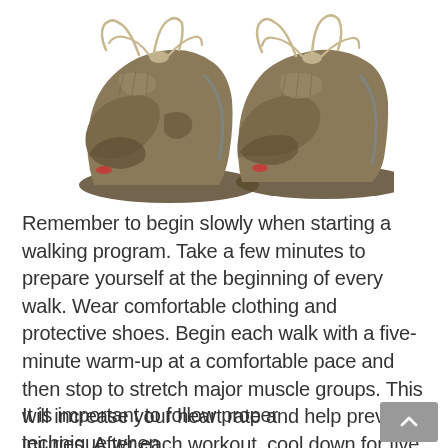[Figure (photo): Two worn, muddy walking/hiking shoes with untied laces, photographed from the front against a white background]
Remember to begin slowly when starting a walking program. Take a few minutes to prepare yourself at the beginning of every walk. Wear comfortable clothing and protective shoes. Begin each walk with a five-minute warm-up at a comfortable pace and then stop to stretch major muscle groups. This will increase your heart rate and help prevent injuries. After each workout, cool down for five minutes at a comfortable pace.
It is important to follow proper technique when